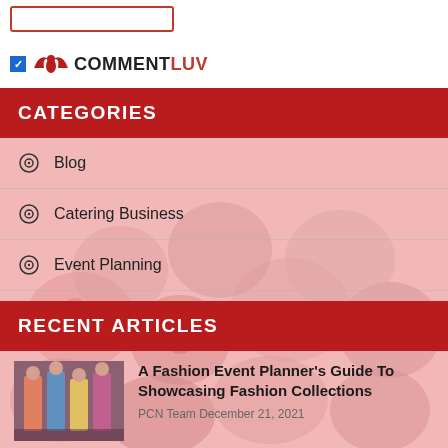[Figure (other): CommentLuv logo with checkbox and eagle/wings icon in red, text COMMENT in dark and LUV in red]
CATEGORIES
Blog
Catering Business
Event Planning
RECENT ARTICLES
[Figure (photo): Fashion models on a runway wearing colorful outfits]
A Fashion Event Planner's Guide To Showcasing Fashion Collections
PCN Team  December 21, 2021